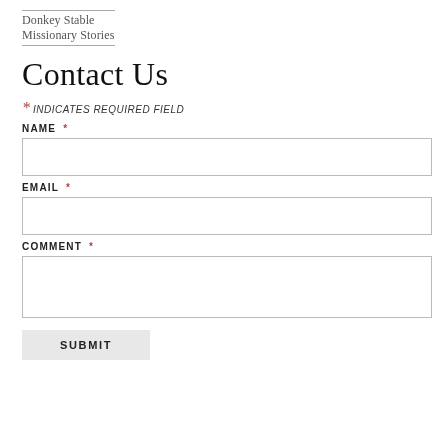Donkey Stable
Missionary Stories
Contact Us
* INDICATES REQUIRED FIELD
NAME *
EMAIL *
COMMENT *
SUBMIT